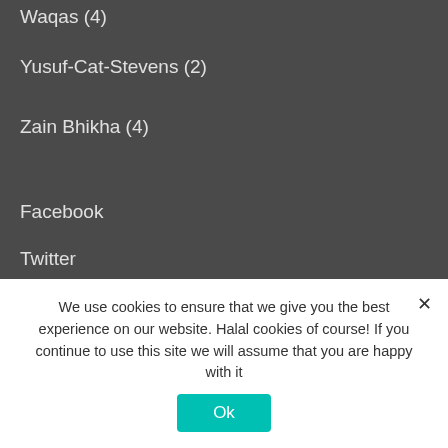Waqas (4)
Yusuf-Cat-Stevens (2)
Zain Bhikha (4)
Facebook
Twitter
Instagram
RSS
Copyright 2023 - Milli Ghina. Powered by Astra WordPress Theme
We use cookies to ensure that we give you the best experience on our website. Halal cookies of course! If you continue to use this site we will assume that you are happy with it